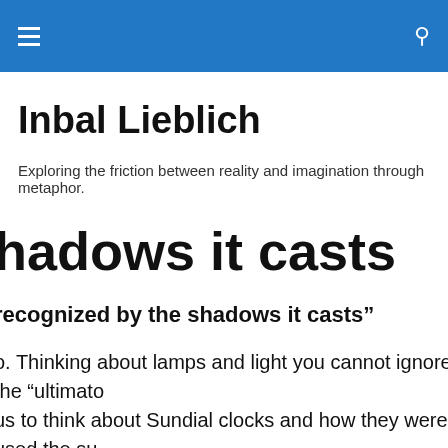Inbal Lieblich
Exploring the friction between reality and imagination through metaphor.
hadows it casts
recognized by the shadows it casts”
o. Thinking about lamps and light you cannot ignore the “ultimato. us to think about Sundial clocks and how they were used the su use of shadows. ents we live and work in, the lighting we use is artificial and stati makes it easy to forget about time, it’s a static environment with lamp is to provide a subtle link to the desktop environment and